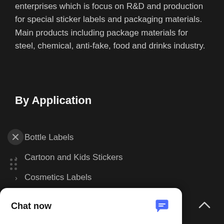enterprises which is focus on R&D and production for special sticker labels and packaging materials. Main products including package materials for steel, chemical, anti-fake, food and drinks industry.
By Application
Bottle Labels
Cartoon and Kids Stickers
Cosmetics Labels
Die Cut Blank & Barcode Label
Electronic Labels